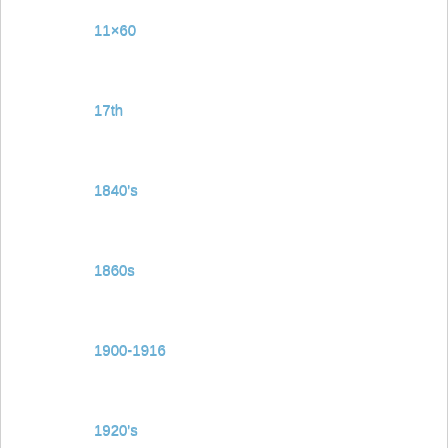11×60
17th
1840's
1860s
1900-1916
1920's
1950s
1988-89
1990's
2017-18
2018-19
2019-20
6-pack
abandoned